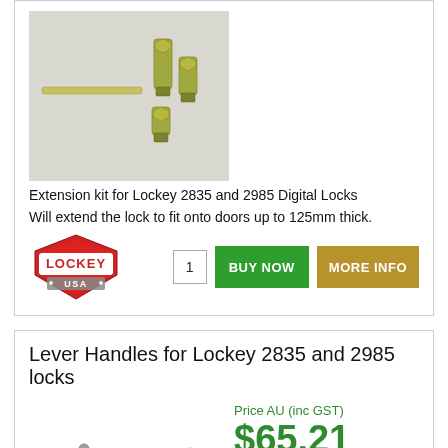[Figure (photo): Photo of extension kit screws and bolts for Lockey 2835 and 2985 Digital Locks, showing metal hex standoffs and a flat rod on a light background]
Extension kit for Lockey 2835 and 2985 Digital Locks
Will extend the lock to fit onto doors up to 125mm thick.
[Figure (logo): Lockey USA logo — red shield with white LOCKEY text and USA banner]
1
BUY NOW
MORE INFO
Lever Handles for Lockey 2835 and 2985 locks
Price AU (inc GST)
$65.21
currency converter
[Figure (photo): Photo of a silver lever door handle for Lockey 2835 and 2985 locks]